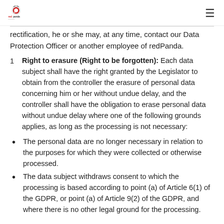redPanda logo and navigation
rectification, he or she may, at any time, contact our Data Protection Officer or another employee of redPanda.
1 Right to erasure (Right to be forgotten): Each data subject shall have the right granted by the Legislator to obtain from the controller the erasure of personal data concerning him or her without undue delay, and the controller shall have the obligation to erase personal data without undue delay where one of the following grounds applies, as long as the processing is not necessary:
The personal data are no longer necessary in relation to the purposes for which they were collected or otherwise processed.
The data subject withdraws consent to which the processing is based according to point (a) of Article 6(1) of the GDPR, or point (a) of Article 9(2) of the GDPR, and where there is no other legal ground for the processing.